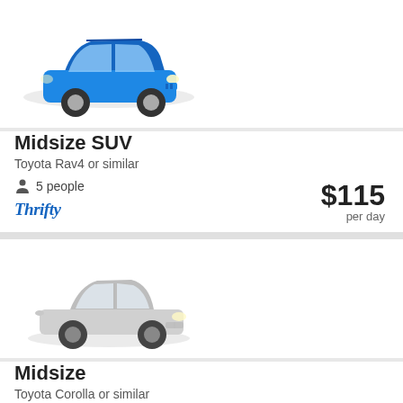[Figure (photo): Blue Toyota RAV4 SUV car image]
Midsize SUV
Toyota Rav4 or similar
5 people
[Figure (logo): Thrifty car rental logo]
$115 per day
[Figure (photo): Silver Toyota Corolla sedan car image]
Midsize
Toyota Corolla or similar
4 people
[Figure (logo): Budget car rental logo]
$121 per day
See more car deals